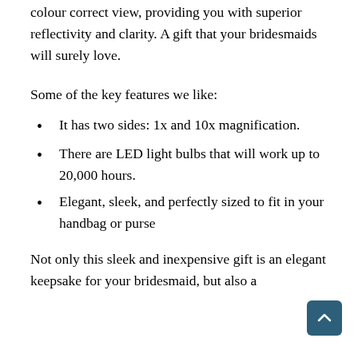colour correct view, providing you with superior reflectivity and clarity. A gift that your bridesmaids will surely love.
Some of the key features we like:
It has two sides: 1x and 10x magnification.
There are LED light bulbs that will work up to 20,000 hours.
Elegant, sleek, and perfectly sized to fit in your handbag or purse
Not only this sleek and inexpensive gift is an elegant keepsake for your bridesmaid, but also a